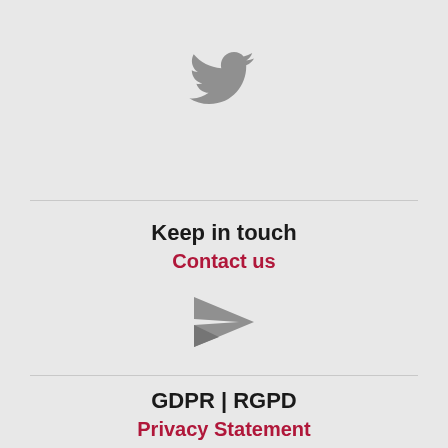[Figure (logo): Twitter bird icon in grey]
Keep in touch
Contact us
[Figure (illustration): Paper plane / send icon in grey]
GDPR | RGPD
Privacy Statement
[Figure (illustration): Privacy shield/lock badge icon in grey with 'Privacy' text]